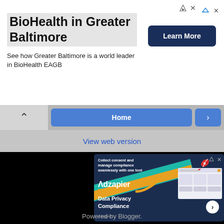BioHealth in Greater Baltimore
See how Greater Baltimore is a world leader in BioHealth EAGB
Learn More
Home
View web version
[Figure (infographic): Adzapier advertisement banner with dark blue background, diagonal teal and yellow stripes, rocket illustration, dashboard screenshot mockup. Text reads: 'Collect consent and manage compliance seamlessly with one tool', 'Adzapier', 'Data Privacy Compliance', with a circular arrow button and 'Adzapier' branding at bottom.]
Powered by Blogger.